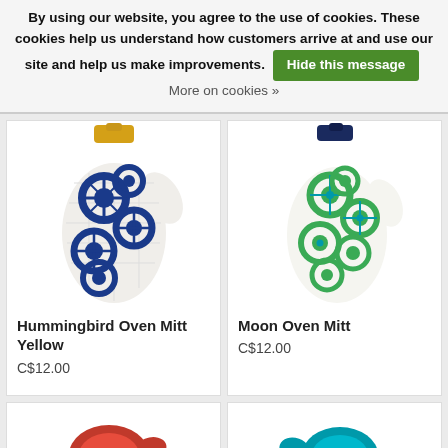By using our website, you agree to the use of cookies. These cookies help us understand how customers arrive at and use our site and help us make improvements. Hide this message  More on cookies »
[Figure (photo): Hummingbird Oven Mitt Yellow — white oven mitt with blue circular mandala patterns and a yellow hanger loop]
Hummingbird Oven Mitt Yellow
C$12.00
[Figure (photo): Moon Oven Mitt — white oven mitt with green and teal circular patterns and a navy blue hanger loop]
Moon Oven Mitt
C$12.00
[Figure (photo): Partial view of a red oven mitt at the bottom left]
[Figure (photo): Partial view of a blue/teal oven mitt at the bottom right]